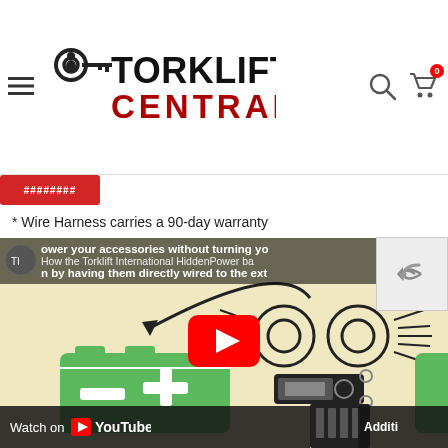Torklift Central — navigation header with logo, search and cart icons
* Wire Harness carries a 90-day warranty
[Figure (screenshot): YouTube video thumbnail showing Torklift International HiddenPower battery system infographic — battery connected to accessories with arrow, with YouTube play button overlay. Video title text: 'ower your accessories without turning yo...' and 'How the Torklift International HiddenPower ba...' and 'n by having them directly wired to the ext...' Watch on YouTube bar at bottom.]